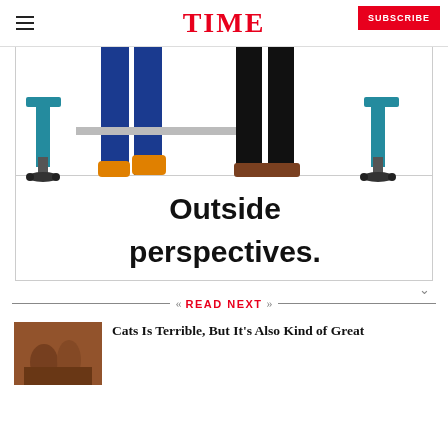TIME
[Figure (illustration): An advertisement illustration showing the lower halves of two people standing in an office environment with chairs, along with the text 'Outside perspectives.']
READ NEXT
[Figure (photo): Thumbnail photo for the article 'Cats Is Terrible, But It's Also Kind of Great']
Cats Is Terrible, But It’s Also Kind of Great